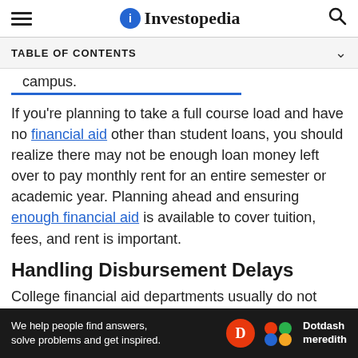Investopedia
TABLE OF CONTENTS
campus.
If you're planning to take a full course load and have no financial aid other than student loans, you should realize there may not be enough loan money left over to pay monthly rent for an entire semester or academic year. Planning ahead and ensuring enough financial aid is available to cover tuition, fees, and rent is important.
Handling Disbursement Delays
College financial aid departments usually do not
We help people find answers, solve problems and get inspired. Dotdash meredith